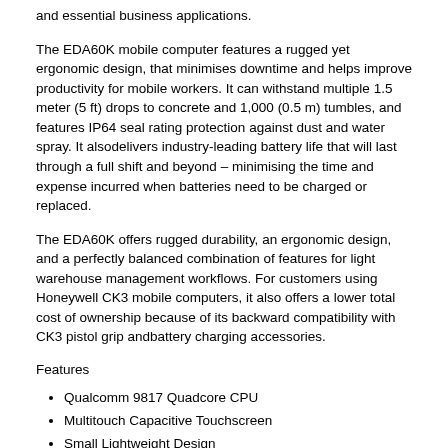and essential business applications.
The EDA60K mobile computer features a rugged yet ergonomic design, that minimises downtime and helps improve productivity for mobile workers. It can withstand multiple 1.5 meter (5 ft) drops to concrete and 1,000 (0.5 m) tumbles, and features IP64 seal rating protection against dust and water spray. It alsodelivers industry-leading battery life that will last through a full shift and beyond – minimising the time and expense incurred when batteries need to be charged or replaced.
The EDA60K offers rugged durability, an ergonomic design, and a perfectly balanced combination of features for light warehouse management workflows. For customers using Honeywell CK3 mobile computers, it also offers a lower total cost of ownership because of its backward compatibility with CK3 pistol grip andbattery charging accessories.
Features
Qualcomm 9817 Quadcore CPU
Multitouch Capacitive Touchscreen
Small Lightweight Design
Large Full Shift Battery
12 Month Warranty with extended Support Options
Specifications